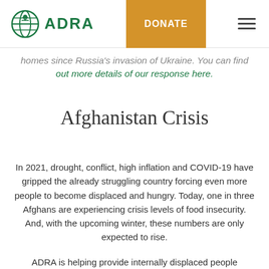[Figure (logo): ADRA logo with globe icon and green text]
homes since Russia's invasion of Ukraine. You can find out more details of our response here.
Afghanistan Crisis
In 2021, drought, conflict, high inflation and COVID-19 have gripped the already struggling country forcing even more people to become displaced and hungry. Today, one in three Afghans are experiencing crisis levels of food insecurity. And, with the upcoming winter, these numbers are only expected to rise.
ADRA is helping provide internally displaced people